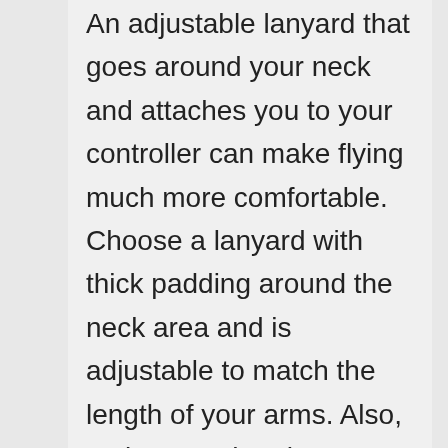An adjustable lanyard that goes around your neck and attaches you to your controller can make flying much more comfortable. Choose a lanyard with thick padding around the neck area and is adjustable to match the length of your arms. Also, make sure that the lanyard has a good quality and trustworthy clasp. You need to be able to trust it with the hundreds of dollars that is hanging off your neck. They can be useful for people that are doing multiple things while flying a drone